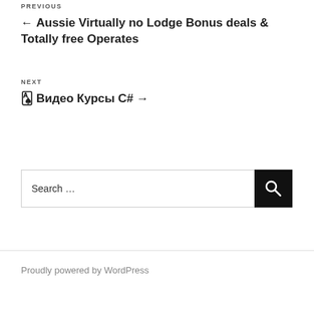PREVIOUS
← Aussie Virtually no Lodge Bonus deals & Totally free Operates
NEXT
🃏 Видео Курсы C# →
Search …
Proudly powered by WordPress